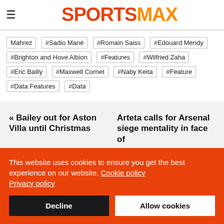SPORTSMAX
Mahrez #Sadio Mané #Romain Saiss #Edouard Mendy #Brighton and Hove Albion #Features #Wilfried Zaha #Eric Bailly #Maxwell Cornet #Naby Keita #Feature #Data Features #Data
« Bailey out for Aston Villa until Christmas
Arteta calls for Arsenal siege mentality in face of
This website uses cookies to ensure you get the best experience on our website. Cookie policy Privacy policy
Decline
Allow cookies